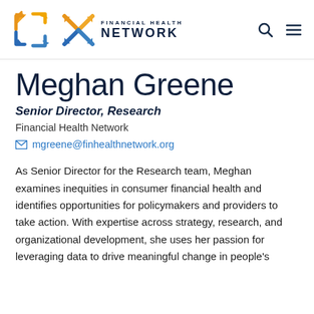[Figure (logo): Financial Health Network logo with orange and blue arrow-star icon and text 'FINANCIAL HEALTH NETWORK' in dark navy]
Meghan Greene
Senior Director, Research
Financial Health Network
mgreene@finhealthnetwork.org
As Senior Director for the Research team, Meghan examines inequities in consumer financial health and identifies opportunities for policymakers and providers to take action. With expertise across strategy, research, and organizational development, she uses her passion for leveraging data to drive meaningful change in people's